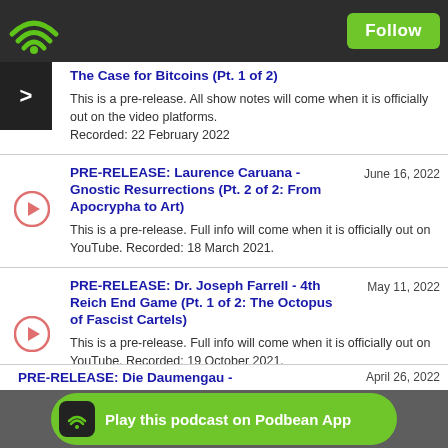Follow
The Case for Bitcoins (Pt. 1 of 2) - This is a pre-release. All show notes will come when it is officially out on the video platforms. Recorded: 22 February 2022
PRE-RELEASE: Laurence Caruana - Gnostic Resurrections (Pt. 2 of 2: From Apocrypha to Art) - June 16, 2022 - This is a pre-release. Full info will come when it is officially out on YouTube. Recorded: 18 March 2021.
PRE-RELEASE: Dr. Joseph Farrell - 4th Reich End Game (Pt. 1 of 2: The Octopus of Fascist Cartels) - May 11, 2022 - This is a pre-release. Full info will come when it is officially out on YouTube. Recorded: 19 October 2021.
PRE-RELEASE: Die Daumengau - April 26, 2022
Play this podcast on Podbean App